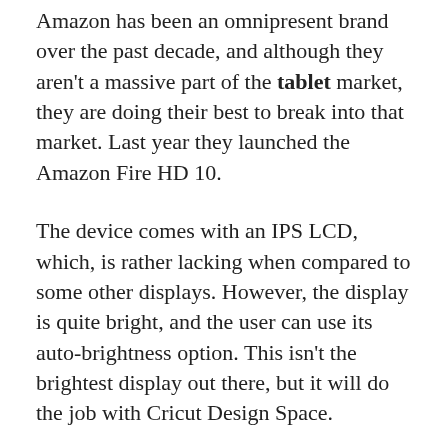Amazon has been an omnipresent brand over the past decade, and although they aren't a massive part of the tablet market, they are doing their best to break into that market. Last year they launched the Amazon Fire HD 10.
The device comes with an IPS LCD, which, is rather lacking when compared to some other displays. However, the display is quite bright, and the user can use its auto-brightness option. This isn't the brightest display out there, but it will do the job with Cricut Design Space.
The device runs on a Mediatek MT8183 processor. Mediatek has gained popularity in recent years,